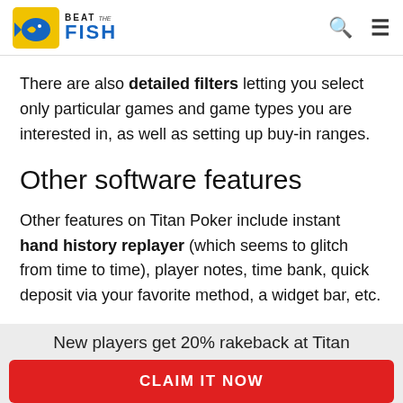Beat The Fish
There are also detailed filters letting you select only particular games and game types you are interested in, as well as setting up buy-in ranges.
Other software features
Other features on Titan Poker include instant hand history replayer (which seems to glitch from time to time), player notes, time bank, quick deposit via your favorite method, a widget bar, etc.
New players get 20% rakeback at Titan
CLAIM IT NOW